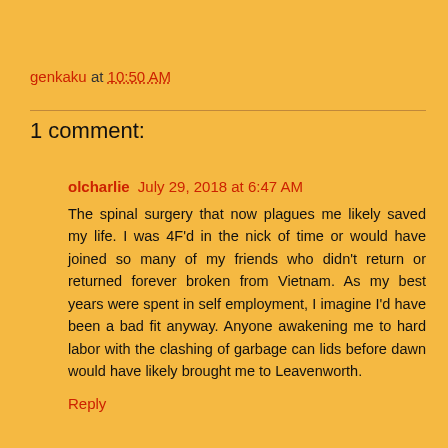genkaku at 10:50 AM
1 comment:
olcharlie  July 29, 2018 at 6:47 AM

The spinal surgery that now plagues me likely saved my life. I was 4F'd in the nick of time or would have joined so many of my friends who didn't return or returned forever broken from Vietnam. As my best years were spent in self employment, I imagine I'd have been a bad fit anyway. Anyone awakening me to hard labor with the clashing of garbage can lids before dawn would have likely brought me to Leavenworth.

Reply